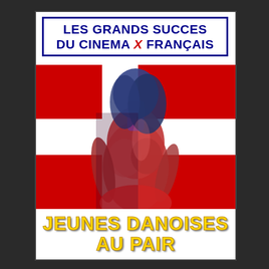[Figure (illustration): French adult film DVD/VHS cover for 'Jeunes Danoises au Pair' from the series 'Les Grands Succes du Cinema X Français'. Features a blue header box with the series title in dark blue bold text and a red X in the center. The main image shows a female figure against a red and white Danish flag cross background. At the bottom, the film title 'JEUNES DANOISES AU PAIR' is written in large yellow bold text.]